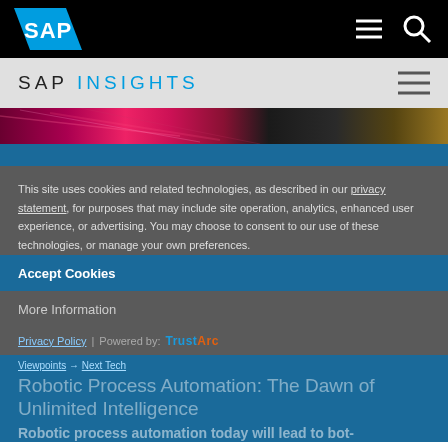SAP top navigation bar with logo, menu and search icons
SAP INSIGHTS
[Figure (photo): Abstract colorful fiber-optic/light streak hero image strip in pink, red and dark tones]
This site uses cookies and related technologies, as described in our privacy statement, for purposes that may include site operation, analytics, enhanced user experience, or advertising. You may choose to consent to our use of these technologies, or manage your own preferences.
Accept Cookies
More Information
Privacy Policy | Powered by: TrustArc
Viewpoints → Next Tech
Robotic Process Automation: The Dawn of Unlimited Intelligence
Robotic process automation today will lead to bot-